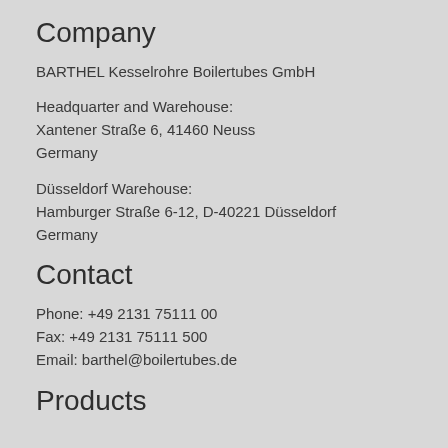Company
BARTHEL Kesselrohre Boilertubes GmbH
Headquarter and Warehouse:
Xantener Straße 6, 41460 Neuss
Germany
Düsseldorf Warehouse:
Hamburger Straße 6-12, D-40221 Düsseldorf
Germany
Contact
Phone: +49 2131 75111 00
Fax: +49 2131 75111 500
Email: barthel@boilertubes.de
Products